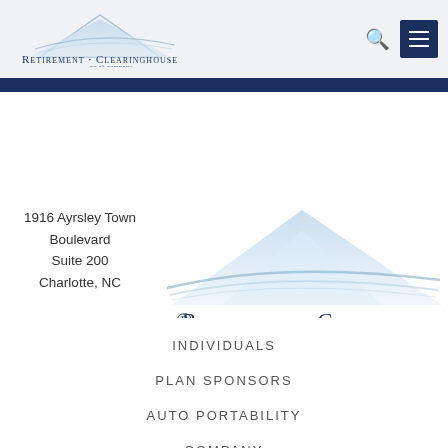[Figure (logo): Retirement Clearinghouse - An RLI Company logo in header navigation bar]
[Figure (logo): Large Retirement Clearinghouse - An RLI Company logo centered in the middle section]
1916 Ayrsley Town Boulevard
Suite 200
Charlotte, NC
28273
INDIVIDUALS
PLAN SPONSORS
AUTO PORTABILITY
COMPANY